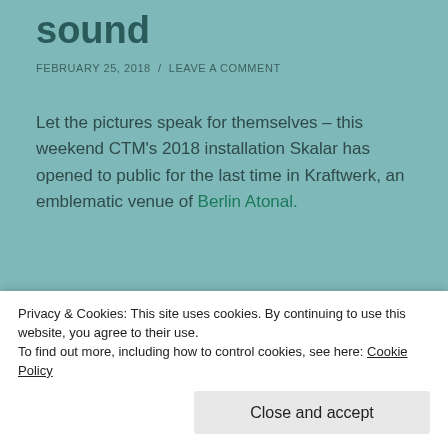sound
FEBRUARY 25, 2018 / LEAVE A COMMENT
Let the pictures speak for themselves – this weekend CTM's 2018 installation Skalar has opened to public for the last time in Kraftwerk, an emblematic venue of Berlin Atonal.
[Figure (photo): Two side-by-side photos of the Skalar light installation at Kraftwerk Berlin. Left photo shows circular speaker/dish objects with pink/magenta LED rings illuminating them in a purple-tinged dark space. Right photo shows blue laser light patterns forming arc shapes against a dark background.]
Privacy & Cookies: This site uses cookies. By continuing to use this website, you agree to their use.
To find out more, including how to control cookies, see here: Cookie Policy
Close and accept